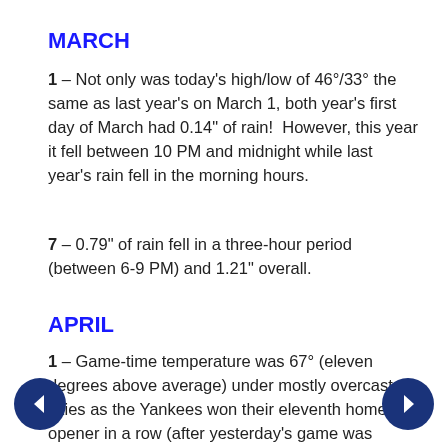MARCH
1 – Not only was today's high/low of 46°/33° the same as last year's on March 1, both year's first day of March had 0.14" of rain!  However, this year it fell between 10 PM and midnight while last year's rain fell in the morning hours.
7 – 0.79" of rain fell in a three-hour period (between 6-9 PM) and 1.21" overall.
APRIL
1 – Game-time temperature was 67° (eleven degrees above average) under mostly overcast skies as the Yankees won their eleventh home opener in a row (after yesterday's game was postponed due to rain).